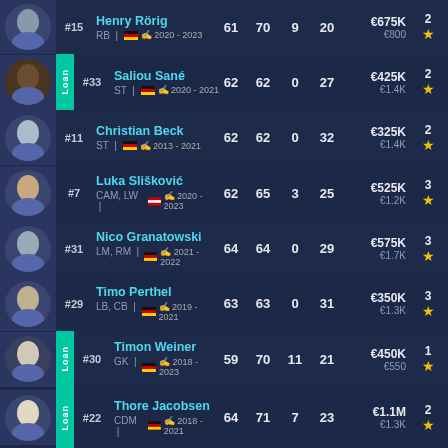| # | Name/Position | OVR | POT | GA | Age | Value | Stars |
| --- | --- | --- | --- | --- | --- | --- | --- |
| #15 | Henry Rörig / RB / 2020-2023 | 61 | 70 | 9 | 20 | €675K / €800 | 2 |
| #33 Loan | Saliou Sané / ST / 2020-2021 | 62 | 62 | 0 | 27 | €425K / €1.4K | 2 |
| #11 | Christian Beck / ST / 2013-2021 | 62 | 62 | 0 | 32 | €325K / €1.4K | 2 |
| #7 | Luka Slišković / CAM, LW / 2020-2023 | 62 | 65 | 3 | 25 | €525K / €1.2K | 3 |
| #31 | Nico Granatowski / LM, RM / 2021-2022 | 64 | 64 | 0 | 29 | €575K / €1.7K | 3 |
| #29 | Timo Perthel / LB, CB / 2019-2021 | 63 | 63 | 0 | 31 | €350K / €1.3K | 3 |
| #30 Loan | Timon Weiner / GK / 2018-2023 | 59 | 70 | 11 | 21 | €450K / €550 | 1 |
| #22 Loan | Thore Jacobsen / CDM / 2018-2021 | 64 | 71 | 7 | 23 | €1.1M / €1.3K | 2 |